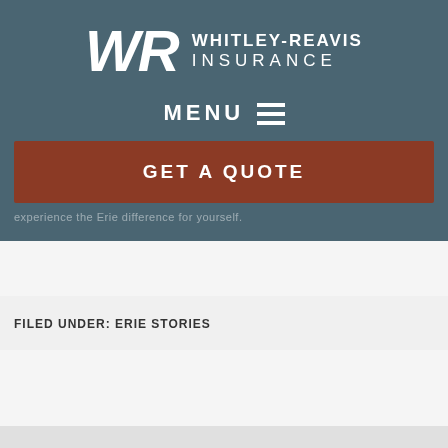[Figure (logo): Whitley-Reavis Insurance logo with WR monogram letters and company name]
MENU ☰
GET A QUOTE
experience the Erie difference for yourself.
FILED UNDER: ERIE STORIES